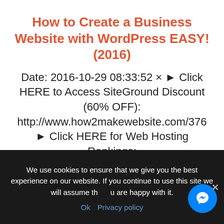How to Create a Business Website with WordPress EASY! (2016)
Date: 2016-10-29 08:33:52 × ► Click HERE to Access SiteGround Discount (60% OFF):
http://www.how2makewebsite.com/376
► Click HERE for Web Hosting Rankings:
We use cookies to ensure that we give you the best experience on our website. If you continue to use this site we will assume that you are happy with it.
Ok  Privacy policy